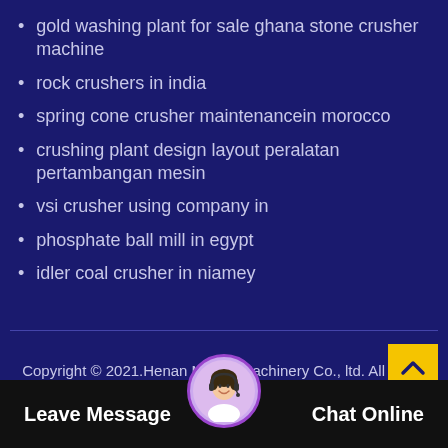gold washing plant for sale ghana stone crusher machine
rock crushers in india
spring cone crusher maintenancein morocco
crushing plant design layout peralatan pertambangan mesin
vsi crusher using company in
phosphate ball mill in egypt
idler coal crusher in niamey
Copyright © 2021.Henan Mining Machinery Co., ltd. All rights reserved. Sitemap
Leave Message
Chat Online